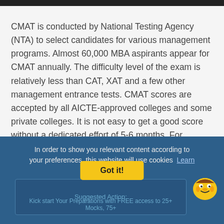CMAT is conducted by National Testing Agency (NTA) to select candidates for various management programs. Almost 60,000 MBA aspirants appear for CMAT annually. The difficulty level of the exam is relatively less than CAT, XAT and a few other management entrance tests. CMAT scores are accepted by all AICTE-approved colleges and some private colleges. It is not easy to get a good score without a dedicated effort of 5-6 months. For effective preparation, it is best to go for CMAT coaching.
In order to show you relevant content according to your preferences, this website will use cookies Learn more
Got it!
Suggested Action:
Kick start Your Preparations with FREE access to 25+ Mocks, 75+